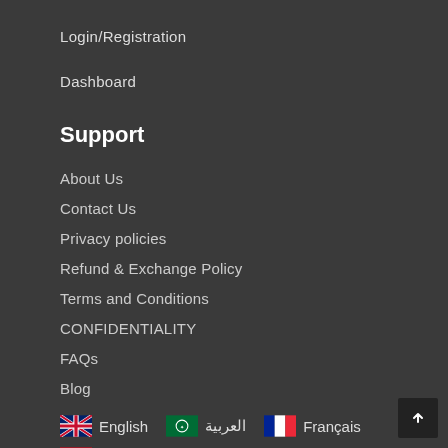Login/Registration
Dashboard
Support
About Us
Contact Us
Privacy policies
Refund & Exchange Policy
Terms and Conditions
CONFIDENTIALITY
FAQs
Blog
🇬🇧 English   🇸🇦 العربية   🇫🇷 Français   🇪🇸 Español